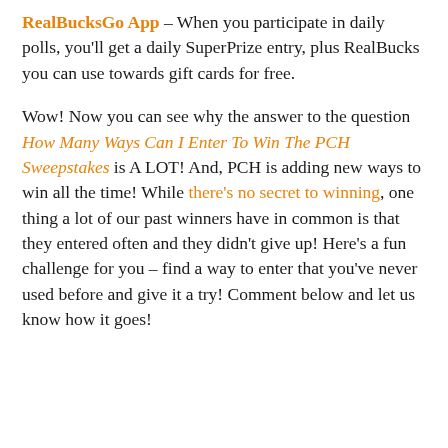RealBucksGo App – When you participate in daily polls, you'll get a daily SuperPrize entry, plus RealBucks you can use towards gift cards for free.
Wow! Now you can see why the answer to the question How Many Ways Can I Enter To Win The PCH Sweepstakes is A LOT! And, PCH is adding new ways to win all the time! While there's no secret to winning, one thing a lot of our past winners have in common is that they entered often and they didn't give up! Here's a fun challenge for you – find a way to enter that you've never used before and give it a try! Comment below and let us know how it goes!